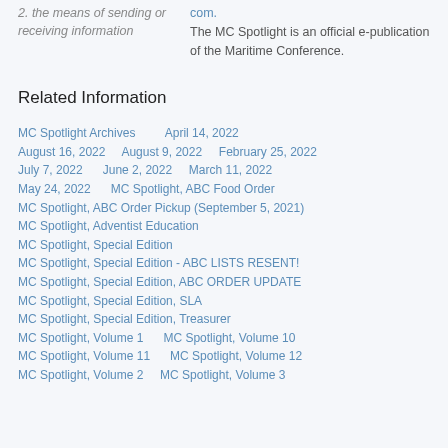2. the means of sending or receiving information
com.
The MC Spotlight is an official e-publication of the Maritime Conference.
Related Information
MC Spotlight Archives        April 14, 2022
August 16, 2022     August 9, 2022     February 25, 2022
July 7, 2022     June 2, 2022     March 11, 2022
May 24, 2022     MC Spotlight, ABC Food Order
MC Spotlight, ABC Order Pickup (September 5, 2021)
MC Spotlight, Adventist Education
MC Spotlight, Special Edition
MC Spotlight, Special Edition - ABC LISTS RESENT!
MC Spotlight, Special Edition, ABC ORDER UPDATE
MC Spotlight, Special Edition, SLA
MC Spotlight, Special Edition, Treasurer
MC Spotlight, Volume 1     MC Spotlight, Volume 10
MC Spotlight, Volume 11     MC Spotlight, Volume 12
MC Spotlight, Volume 2     MC Spotlight, Volume 3